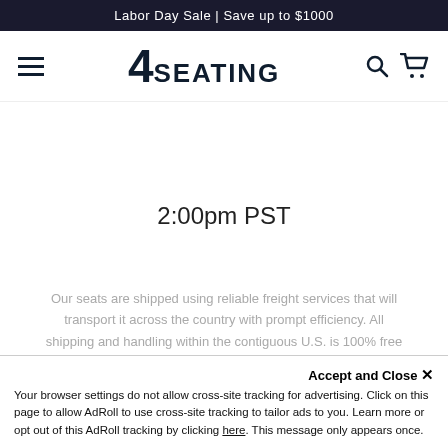Labor Day Sale | Save up to $1000
[Figure (logo): 4SEATING logo with hamburger menu, search icon, and cart icon in navigation bar]
2:00pm PST
Our seats are shipped using reliable freight services that will transport it across the country with prompt efficiency. All shipping and handling within the contiguous U.S. is 100% free of charge. Shipping time varies based on location.
Accept and Close ✕
Your browser settings do not allow cross-site tracking for advertising. Click on this page to allow AdRoll to use cross-site tracking to tailor ads to you. Learn more or opt out of this AdRoll tracking by clicking here. This message only appears once.